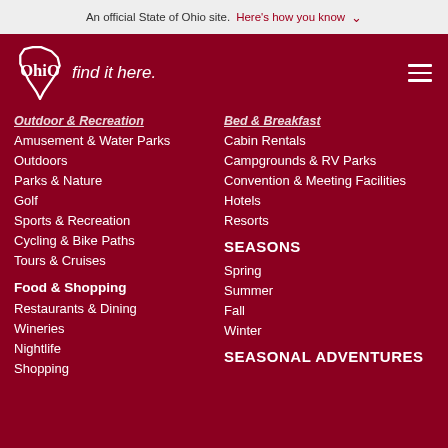An official State of Ohio site. Here's how you know
[Figure (logo): Ohio 'find it here.' state tourism logo with Ohio state outline shape in white on dark red background]
Outdoor & Recreation
Amusement & Water Parks
Outdoors
Parks & Nature
Golf
Sports & Recreation
Cycling & Bike Paths
Tours & Cruises
Food & Shopping
Restaurants & Dining
Wineries
Nightlife
Shopping
Bed & Breakfast
Cabin Rentals
Campgrounds & RV Parks
Convention & Meeting Facilities
Hotels
Resorts
SEASONS
Spring
Summer
Fall
Winter
SEASONAL ADVENTURES